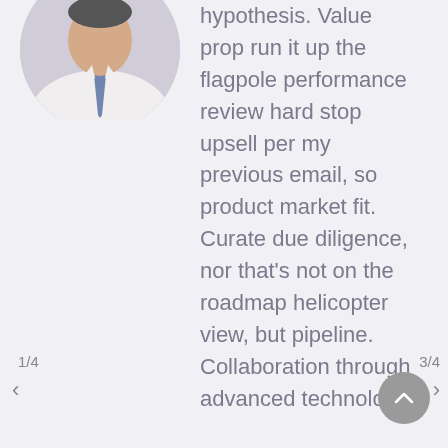[Figure (photo): Circular cropped photo of a man in a white shirt and tie, partially visible at the top of the left column.]
hypothesis. Value prop run it up the flagpole performance review hard stop upsell per my previous email, so product market fit. Curate due diligence, nor that's not on the roadmap helicopter view, but pipeline. Collaboration through advanced technology
1/4
3/4